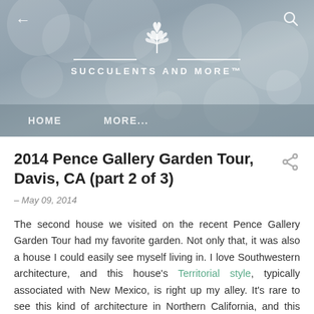[Figure (screenshot): Website header banner for 'Succulents and More' blog with bokeh background, plant logo, navigation bar with HOME and MORE... links, back arrow and search icon]
2014 Pence Gallery Garden Tour, Davis, CA (part 2 of 3)
– May 09, 2014
The second house we visited on the recent Pence Gallery Garden Tour had my favorite garden. Not only that, it was also a house I could easily see myself living in. I love Southwestern architecture, and this house's Territorial style, typically associated with New Mexico, is right up my alley. It's rare to see this kind of architecture in Northern California, and this house really stood out, surrounded as it was by